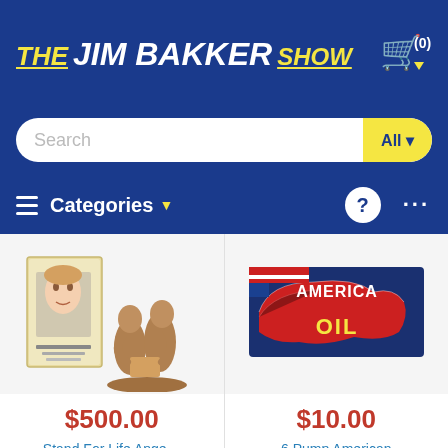THE JIM BAKKER SHOW
[Figure (screenshot): Search bar with 'Search' placeholder text and yellow 'All' dropdown button]
[Figure (screenshot): Navigation bar with hamburger menu, Categories dropdown, help circle icon, and more dots icon]
[Figure (photo): Product image: book and bronze angel statue]
$500.00
Stand For Life Ange…
[Figure (photo): Product image: American Oil banner with US flag map]
$10.00
6 Pump American